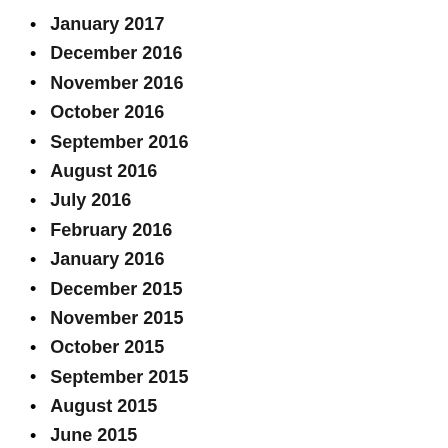January 2017
December 2016
November 2016
October 2016
September 2016
August 2016
July 2016
February 2016
January 2016
December 2015
November 2015
October 2015
September 2015
August 2015
June 2015
March 2015
December 2014
October 2014